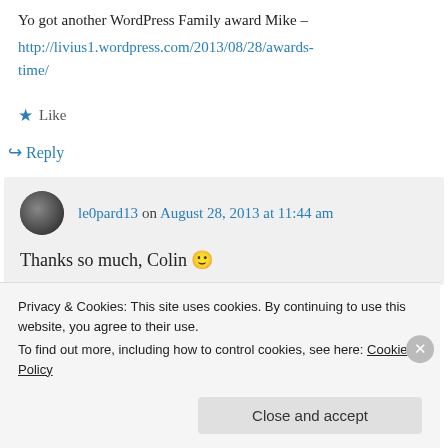Yo got another WordPress Family award Mike – http://livius1.wordpress.com/2013/08/28/awards-time/
★ Like
↪ Reply
le0pard13 on August 28, 2013 at 11:44 am
Thanks so much, Colin 🙂
Privacy & Cookies: This site uses cookies. By continuing to use this website, you agree to their use.
To find out more, including how to control cookies, see here: Cookie Policy
Close and accept